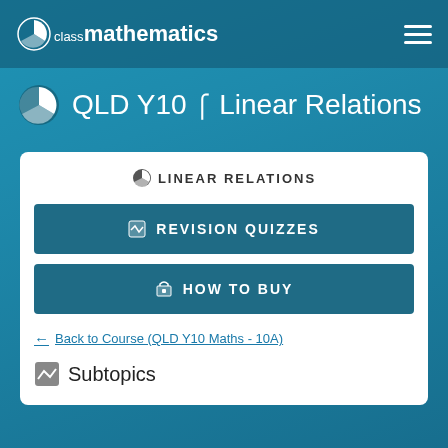class mathematics
QLD Y10 Linear Relations
LINEAR RELATIONS
REVISION QUIZZES
HOW TO BUY
← Back to Course (QLD Y10 Maths - 10A)
Subtopics